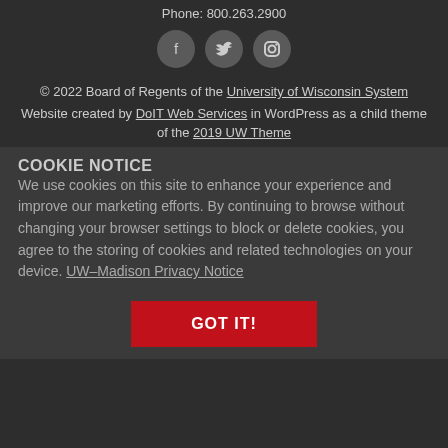Phone: 800.263.2900
[Figure (illustration): Three social media icons (Facebook, Twitter, Instagram) in circular grey buttons]
© 2022 Board of Regents of the University of Wisconsin System
Website created by DoIT Web Services in WordPress as a child theme of the 2019 UW Theme
COOKIE NOTICE
We use cookies on this site to enhance your experience and improve our marketing efforts. By continuing to browse without changing your browser settings to block or delete cookies, you agree to the storing of cookies and related technologies on your device. UW–Madison Privacy Notice
GOT IT!